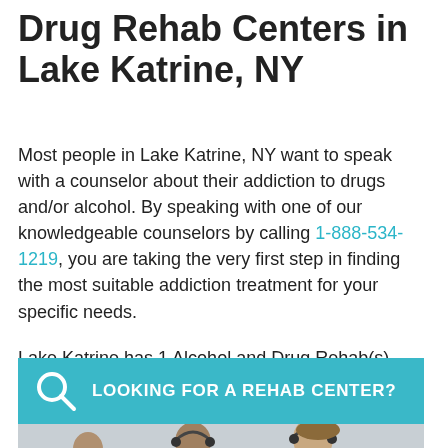Drug Rehab Centers in Lake Katrine, NY
Most people in Lake Katrine, NY want to speak with a counselor about their addiction to drugs and/or alcohol. By speaking with one of our knowledgeable counselors by calling 1-888-534-1219, you are taking the very first step in finding the most suitable addiction treatment for your specific needs.
Lake Katrine has 1 Alcohol and Drug Rehab(s) listed below.
LOOKING FOR A REHAB CENTER?
[Figure (photo): Photo of two counselors wearing headsets, a man and a woman, against a light grey background]